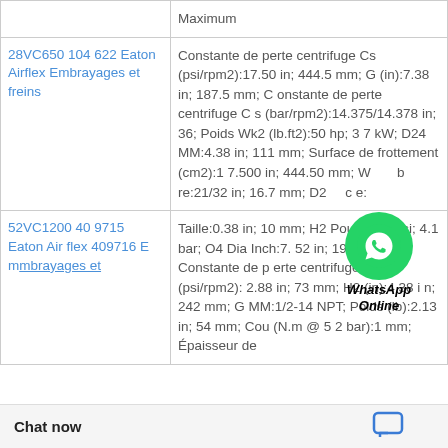| Product | Specifications |
| --- | --- |
| Maximum |  |
| 28VC650 104 622 Eaton Airflex Embrayages et freins | Constante de perte centrifuge Cs (psi/rpm2):17.50 in; 444.5 mm; G (in):7.38 in; 187.5 mm; Constante de perte centrifuge Cs (bar/rpm2):14.375/14.378 in; 36; Poids Wk2 (lb.ft2):50 hp; 37 kW; D24 MM:4.38 in; 111 mm; Surface de frottement (cm2):17.500 in; 444.50 mm; Wbre:21/32 in; 16.7 mm; D2ce: |
| 52VC1200 409715 Eaton Airflex 409716 Embrayages et | Taille:0.38 in; 10 mm; H2 Pouce:60 psi; 4.1 bar; O4 Dia Inch:7.52 in; 191 mm; Constante de perte centrifuge Cs (psi/rpm2):2.88 in; 73 mm; H2 (in):4.38 in; 242 mm; G MM:1/2-14 NPT; Poids (lb):2.13 in; 54 mm; Cou (N.m @ 5 2 bar):1 mm; Épaisseur de |
Chat now
[Figure (logo): WhatsApp Online green circle logo with text label 'WhatsApp Online']